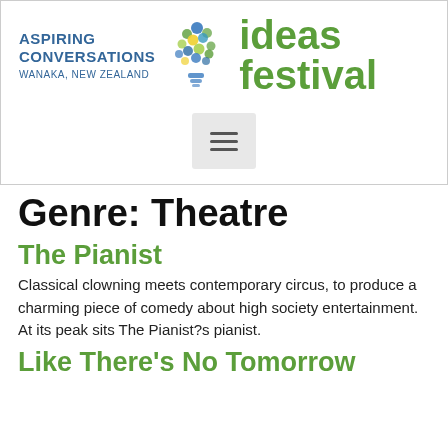[Figure (logo): Aspiring Conversations Wanaka New Zealand Ideas Festival logo with lightbulb graphic made of colorful circles]
[Figure (screenshot): Hamburger menu button (three horizontal lines) on a light grey background]
Genre: Theatre
The Pianist
Classical clowning meets contemporary circus, to produce a charming piece of comedy about high society entertainment. At its peak sits The Pianist?s pianist.
Like There's No Tomorrow